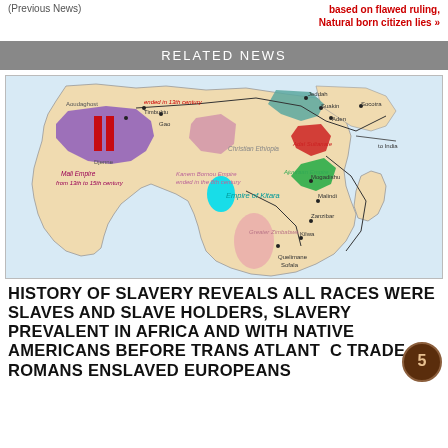(Previous News)
based on flawed ruling, Natural born citizen lies »
RELATED NEWS
[Figure (map): Historical map of Africa showing various empires and trade routes including Mali Empire, Kanem Bornou Empire, Christian Ethiopia, Ajal Sultanate, Ajuuraan Empire, Empire of Kitara, and Greater Zimbabwe, with trade routes to India and labels for cities like Jeddah, Suakin, Aden, Socotra, Mogadishu, Malindi, Zanzibar, Kilwa, Quelimane, Sofala, Timbuktu, Gao, Djenne, Aoudaghost]
HISTORY OF SLAVERY REVEALS ALL RACES WERE SLAVES AND SLAVE HOLDERS, SLAVERY PREVALENT IN AFRICA AND WITH NATIVE AMERICANS BEFORE TRANS ATLANTIC TRADE, ROMANS ENSLAVED EUROPEANS